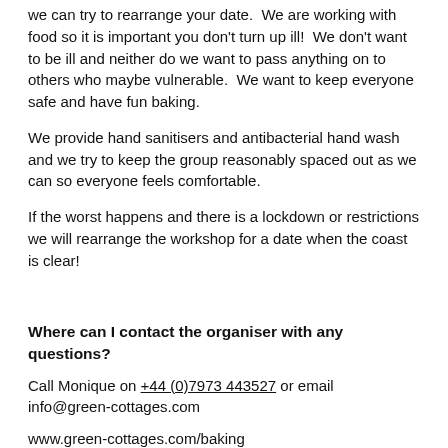we can try to rearrange your date.  We are working with food so it is important you don't turn up ill!  We don't want to be ill and neither do we want to pass anything on to others who maybe vulnerable.  We want to keep everyone safe and have fun baking.
We provide hand sanitisers and antibacterial hand wash and we try to keep the group reasonably spaced out as we can so everyone feels comfortable.
If the worst happens and there is a lockdown or restrictions we will rearrange the workshop for a date when the coast is clear!
Where can I contact the organiser with any questions?
Call Monique on +44 (0)7973 443527 or email info@green-cottages.com
www.green-cottages.com/baking
Before to be happy to answer any date should i...